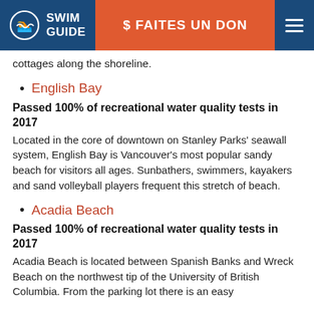SWIM GUIDE | $ FAITES UN DON
cottages along the shoreline.
English Bay
Passed 100% of recreational water quality tests in 2017
Located in the core of downtown on Stanley Parks' seawall system, English Bay is Vancouver's most popular sandy beach for visitors all ages. Sunbathers, swimmers, kayakers and sand volleyball players frequent this stretch of beach.
Acadia Beach
Passed 100% of recreational water quality tests in 2017
Acadia Beach is located between Spanish Banks and Wreck Beach on the northwest tip of the University of British Columbia. From the parking lot there is an easy...